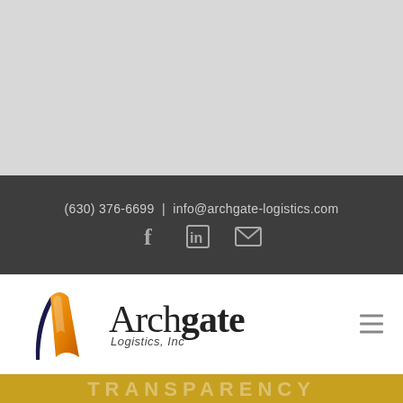[Figure (other): Gray placeholder/image area at the top of the page]
(630) 376-6699  |  info@archgate-logistics.com
[Figure (infographic): Social media icons: Facebook (f), LinkedIn (in), and envelope/email icon]
[Figure (logo): Archgate Logistics, Inc logo with stylized arch graphic and company name]
TRANSPARENCY